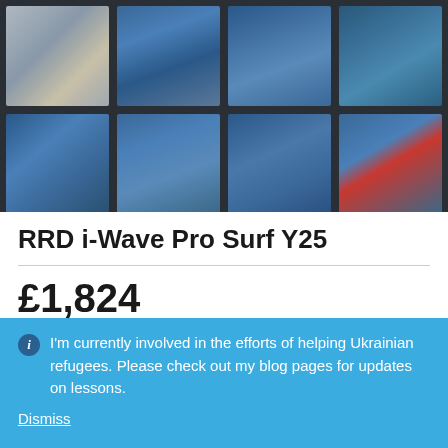[Figure (photo): Grid of 8 thumbnail photos showing a surfboard and surfers riding waves, arranged in 2 rows of 4 images]
RRD i-Wave Pro Surf Y25
£1,824
I'm currently involved in the efforts of helping Ukrainian refugees. Please check out my blog pages for updates on lessons.
Dismiss